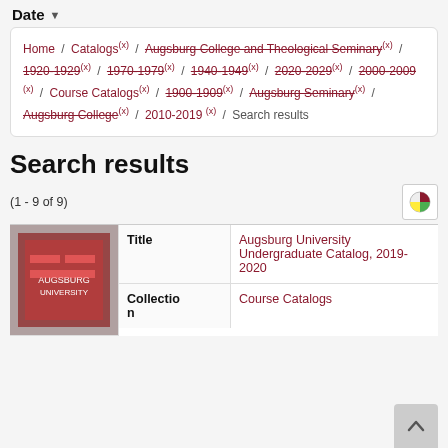Date
Home / Catalogs (x) / Augsburg College and Theological Seminary (x) / 1920-1929 (x) / 1970-1979 (x) / 1940-1949 (x) / 2020-2029 (x) / 2000-2009 (x) / Course Catalogs (x) / 1900-1909 (x) / Augsburg Seminary (x) / Augsburg College (x) / 2010-2019 (x) / Search results
Search results
(1 - 9 of 9)
|  | Title | Value |
| --- | --- | --- |
| [image] | Title | Augsburg University Undergraduate Catalog, 2019-2020 |
|  | Collection | Course Catalogs |